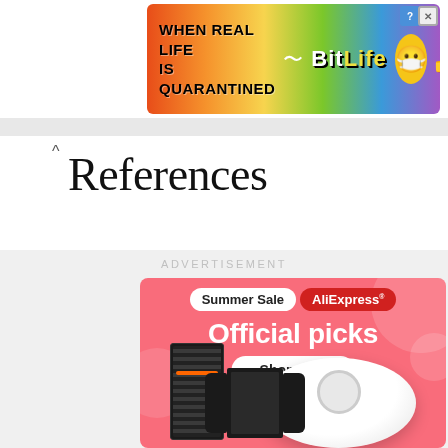[Figure (screenshot): BitLife advertisement banner with rainbow gradient background, text 'WHEN REAL LIFE IS QUARANTINED' and BitLife logo with emoji characters]
References
ADVERTISEMENT
[Figure (screenshot): AliExpress Summer Sale advertisement with pink background, 'Summer Sale AliExpress Official picks Shop now' text and product images including robot vacuum, gaming console, and Nintendo Switch]